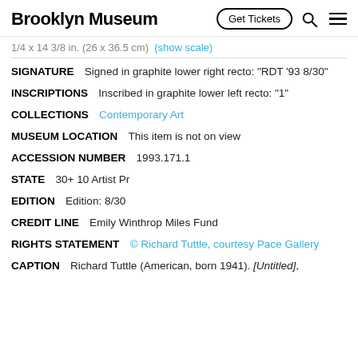Brooklyn Museum  Get Tickets
1/4 x 14 3/8 in. (26 x 36.5 cm)  (show scale)
SIGNATURE   Signed in graphite lower right recto: "RDT '93 8/30"
INSCRIPTIONS   Inscribed in graphite lower left recto: "1"
COLLECTIONS   Contemporary Art
MUSEUM LOCATION   This item is not on view
ACCESSION NUMBER   1993.171.1
STATE   30+ 10 Artist Pr
EDITION   Edition: 8/30
CREDIT LINE   Emily Winthrop Miles Fund
RIGHTS STATEMENT   © Richard Tuttle, courtesy Pace Gallery
CAPTION   Richard Tuttle (American, born 1941). [Untitled],